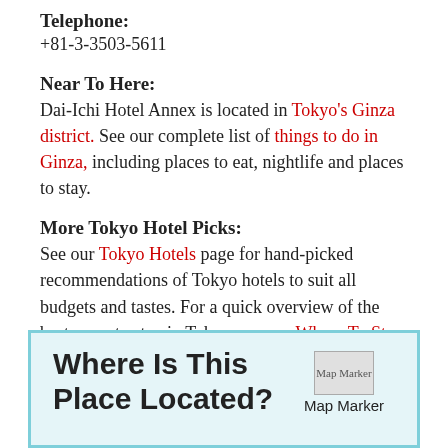Telephone:
+81-3-3503-5611
Near To Here:
Dai-Ichi Hotel Annex is located in Tokyo's Ginza district. See our complete list of things to do in Ginza, including places to eat, nightlife and places to stay.
More Tokyo Hotel Picks:
See our Tokyo Hotels page for hand-picked recommendations of Tokyo hotels to suit all budgets and tastes. For a quick overview of the best areas to stay in Tokyo, see our Where To Stay In Tokyo page.
[Figure (infographic): Box with light blue background and border containing the title 'Where Is This Place Located?' on the left and a Map Marker image placeholder on the right.]